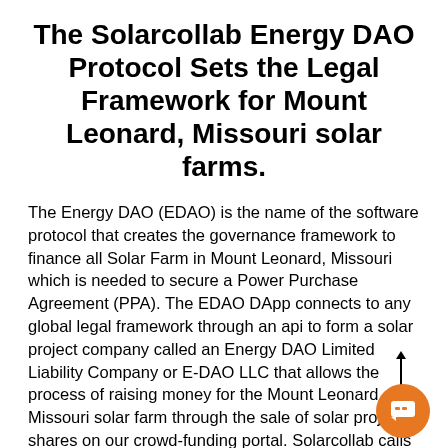The Solarcollab Energy DAO Protocol Sets the Legal Framework for Mount Leonard, Missouri solar farms.
The Energy DAO (EDAO) is the name of the software protocol that creates the governance framework to finance all Solar Farm in Mount Leonard, Missouri which is needed to secure a Power Purchase Agreement (PPA). The EDAO DApp connects to any global legal framework through an api to form a solar project company called an Energy DAO Limited Liability Company or E-DAO LLC that allows the process of raising money for the Mount Leonard, Missouri solar farm through the sale of solar project shares on our crowd-funding portal. Solarcollab calls these shares: Membership